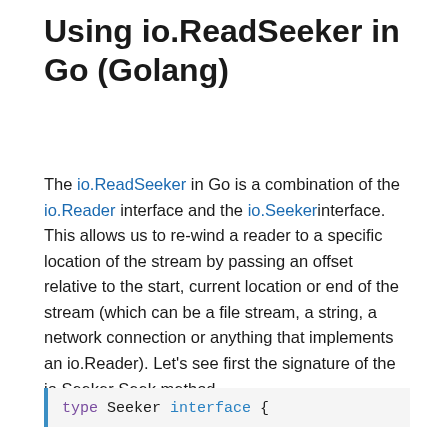Using io.ReadSeeker in Go (Golang)
The io.ReadSeeker in Go is a combination of the io.Reader interface and the io.Seeker interface. This allows us to re-wind a reader to a specific location of the stream by passing an offset relative to the start, current location or end of the stream (which can be a file stream, a string, a network connection or anything that implements an io.Reader). Let's see first the signature of the io.Seeker Seek method
type Seeker interface {